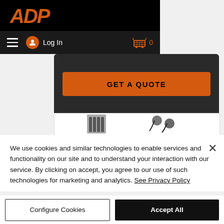[Figure (screenshot): ADP website screenshot showing logo, navigation bar with hamburger menu, Log In, and cart icon, plus GET A QUOTE button and partial product images]
We use cookies and similar technologies to enable services and functionality on our site and to understand your interaction with our service. By clicking on accept, you agree to our use of such technologies for marketing and analytics. See Privacy Policy
Configure Cookies
Accept All